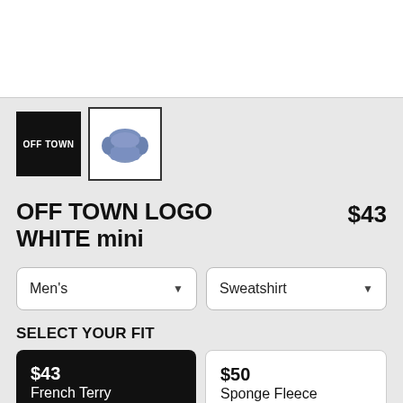[Figure (photo): White product image area at top of page]
[Figure (logo): Black thumbnail with OFF TOWN text logo]
[Figure (photo): Blue sweatshirt product thumbnail with white border]
OFF TOWN LOGO WHITE mini $43
Men's
Sweatshirt
SELECT YOUR FIT
$43 French Terry
$50 Sponge Fleece